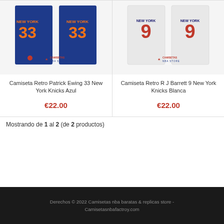[Figure (photo): Blue New York Knicks retro jersey #33 (Patrick Ewing) displayed as product image with Camisetas NBA Store watermark]
Camiseta Retro Patrick Ewing 33 New York Knicks Azul
€22.00
[Figure (photo): White New York Knicks retro jersey #9 (RJ Barrett) displayed as product image with Camisetas NBA Store watermark]
Camiseta Retro R J Barrett 9 New York Knicks Blanca
€22.00
Mostrando de 1 al 2 (de 2 productos)
Derechos © 2022 Camisetas nba baratas & replicas store - Camisetasnbafactroy.com